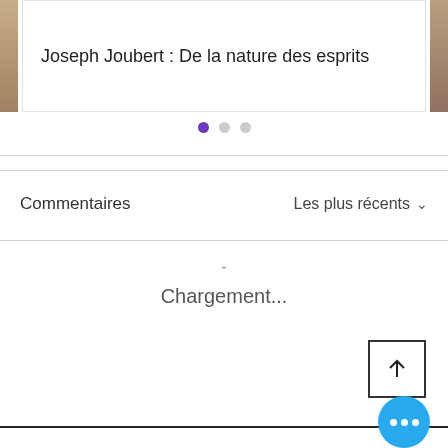Joseph Joubert : De la nature des esprits
[Figure (screenshot): Carousel navigation dots: one filled purple dot and two grey dots]
Commentaires
Les plus récents ∨
-
Chargement...
[Figure (other): Up arrow button inside a square border]
[Figure (other): Orange gradient 'Faire un don' donation button]
[Figure (other): Blue circular more options button with three dots]